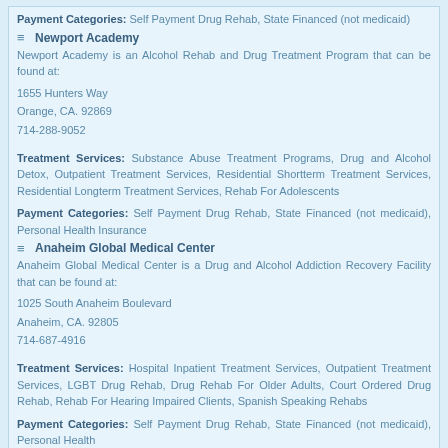Payment Categories: Self Payment Drug Rehab, State Financed (not medicaid)
Newport Academy
Newport Academy is an Alcohol Rehab and Drug Treatment Program that can be found at:
1655 Hunters Way
Orange, CA. 92869
714-288-9052
Treatment Services: Substance Abuse Treatment Programs, Drug and Alcohol Detox, Outpatient Treatment Services, Residential Shortterm Treatment Services, Residential Longterm Treatment Services, Rehab For Adolescents
Payment Categories: Self Payment Drug Rehab, State Financed (not medicaid), Personal Health Insurance
Anaheim Global Medical Center
Anaheim Global Medical Center is a Drug and Alcohol Addiction Recovery Facility that can be found at:
1025 South Anaheim Boulevard
Anaheim, CA. 92805
714-687-4916
Treatment Services: Hospital Inpatient Treatment Services, Outpatient Treatment Services, LGBT Drug Rehab, Drug Rehab For Older Adults, Court Ordered Drug Rehab, Rehab For Hearing Impaired Clients, Spanish Speaking Rehabs
Payment Categories: Self Payment Drug Rehab, State Financed (not medicaid), Personal Health